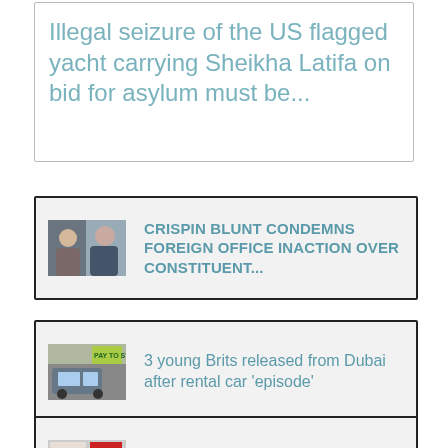Illegal seizure of the US flagged yacht carrying Sheikha Latifa on bid for asylum must be...
CRISPIN BLUNT CONDEMNS FOREIGN OFFICE INACTION OVER CONSTITUENT...
3 young Brits released from Dubai after rental car 'episode'
South Korean Interpol Notice Related by Radha Stirling...